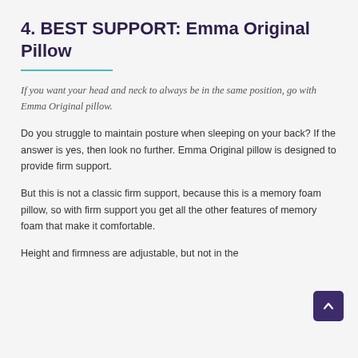4. BEST SUPPORT: Emma Original Pillow
If you want your head and neck to always be in the same position, go with Emma Original pillow.
Do you struggle to maintain posture when sleeping on your back? If the answer is yes, then look no further. Emma Original pillow is designed to provide firm support.
But this is not a classic firm support, because this is a memory foam pillow, so with firm support you get all the other features of memory foam that make it comfortable.
Height and firmness are adjustable, but not in the